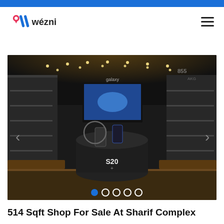wézni
[Figure (photo): Interior of a Samsung electronics store showing product display counters with smartphones (Galaxy S20), illuminated ceiling spotlights, wall-mounted display shelves, and a central circular product stand. Image includes carousel navigation arrows and 5 indicator dots at the bottom.]
514 Sqft Shop For Sale At Sharif Complex